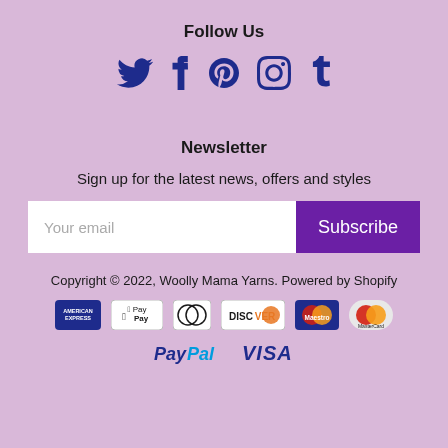Follow Us
[Figure (other): Social media icons: Twitter, Facebook, Pinterest, Instagram, Tumblr in dark blue]
Newsletter
Sign up for the latest news, offers and styles
[Figure (other): Email input field with placeholder 'Your email' and a purple Subscribe button]
Copyright © 2022, Woolly Mama Yarns. Powered by Shopify
[Figure (other): Payment method logos: American Express, Apple Pay, Diners Club, Discover, Maestro, MasterCard, PayPal, VISA]